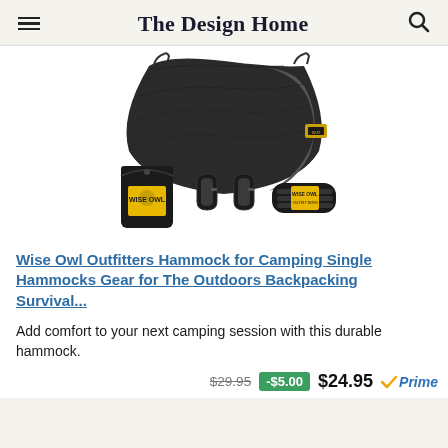The Design Home
[Figure (photo): Wise Owl Outfitters camping hammock in black/grey color with carrying pouch, two carabiners, and tree straps shown below the hammock]
Wise Owl Outfitters Hammock for Camping Single Hammocks Gear for The Outdoors Backpacking Survival...
Add comfort to your next camping session with this durable hammock.
$29.95  -$5.00  $24.95  Prime